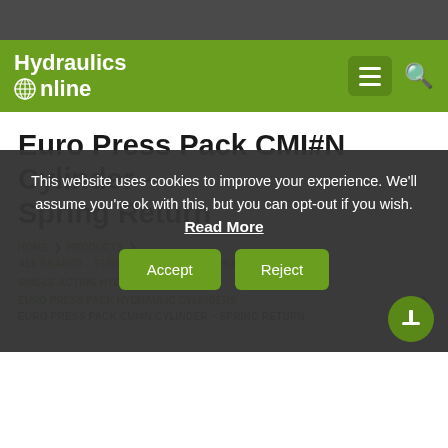Hydraulics Online
Euro Press Pack CMI#N Cylinder – Spring Return
HOME > PRODUCTS > ALL BRANDS, EURO PRESS PACK, HYDRAULIC CYLINDERS, SINGLE-ACTING HYDRAULIC CYLINDERS, EURO PRESS PACK HYDRAULIC CYLINDERS > EURO PRESS PACK CMI#N CYLINDER – SPRING RETURN
This website uses cookies to improve your experience. We'll assume you're ok with this, but you can opt-out if you wish. Read More